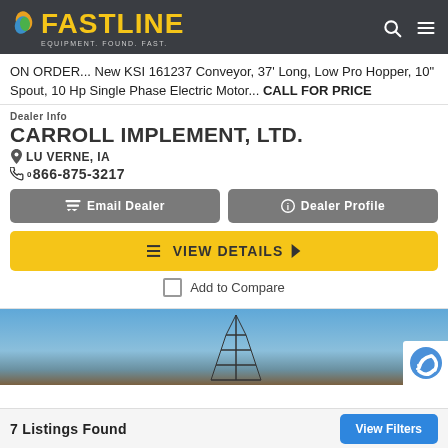FASTLINE EQUIPMENT. FOUND. FAST.
ON ORDER... New KSI 161237 Conveyor, 37' Long, Low Pro Hopper, 10" Spout, 10 Hp Single Phase Electric Motor... CALL FOR PRICE
Dealer Info
CARROLL IMPLEMENT, LTD.
LU VERNE, IA
866-875-3217
Email Dealer
Dealer Profile
VIEW DETAILS
Add to Compare
[Figure (photo): Photo of agricultural equipment listing, sky blue background with antenna/tower silhouette visible]
7 Listings Found   View Filters